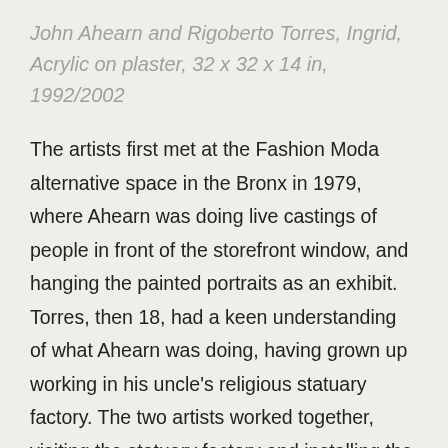John Ahearn and Rigoberto Torres, Ingrid, Acrylic on plaster, 32 x 32 x 14 in, 1992/2002
The artists first met at the Fashion Moda alternative space in the Bronx in 1979, where Ahearn was doing live castings of people in front of the storefront window, and hanging the painted portraits as an exhibit. Torres, then 18, had a keen understanding of what Ahearn was doing, having grown up working in his uncle's religious statuary factory. The two artists worked together, visiting the statuary factory and installing the group of casts as The South Bronx Hall of Fame at the neighborhood Con Edison Building. After the Times Square Show in the summer of 19... they opened a casting workshop together in Torr...